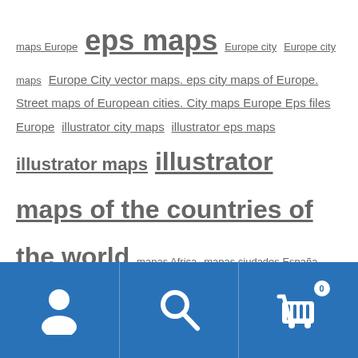maps Europe eps maps Europe city Europe city maps Europe City vector maps. eps city maps of Europe. Street maps of European cities. City maps Europe Eps files Europe illustrator city maps illustrator eps maps illustrator maps illustrator maps of the countries of the world mapas Africa mapas ciudades España map city Europe eps maps of countries maps of the world maps political blind physical eps maps physical maps of countries physical vector maps political division of country map political maps provincial maps regional maps regions of countries topographical maps topographical maps of countries vector maps world maps blind
[Figure (infographic): Blue footer bar with user icon, search icon, and shopping cart icon with badge showing 0]